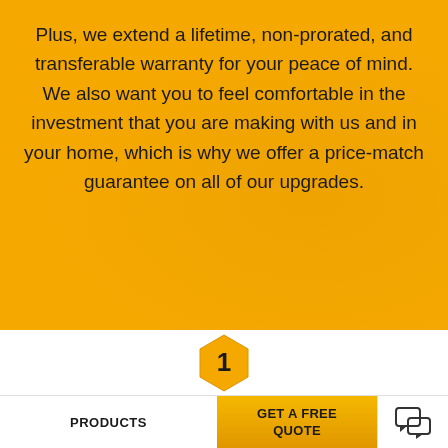Plus, we extend a lifetime, non-prorated, and transferable warranty for your peace of mind. We also want you to feel comfortable in the investment that you are making with us and in your home, which is why we offer a price-match guarantee on all of our upgrades.
[Figure (infographic): Orange hexagon badge with number 1 inside, indicating step 1 of a process]
PRODUCTS | GET A FREE QUOTE | [chat icon]